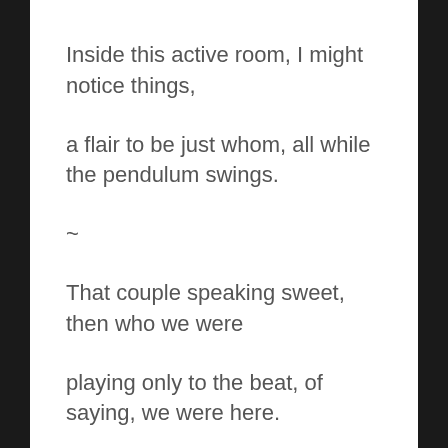Inside this active room, I might notice things,
a flair to be just whom, all while the pendulum swings.
~
That couple speaking sweet, then who we were
playing only to the beat, of saying, we were here.